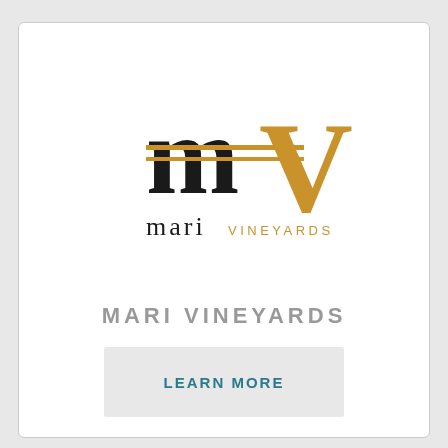[Figure (logo): Mari Vineyards logo: stylized black lowercase 'm' with two golden horizontal bars crossing through it, and a gold capital 'V' to the right; below reads 'mari' in black and 'VINEYARDS' in gold letters]
MARI VINEYARDS
LEARN MORE